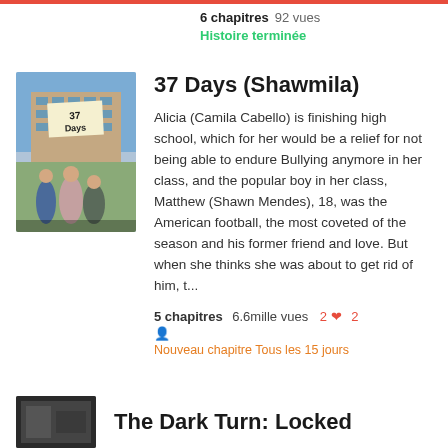6 chapitres  92 vues
Histoire terminée
[Figure (photo): Book cover for '37 Days' showing a school building and group of teenagers]
37 Days (Shawmila)
Alicia (Camila Cabello) is finishing high school, which for her would be a relief for not being able to endure Bullying anymore in her class, and the popular boy in her class, Matthew (Shawn Mendes), 18, was the American football, the most coveted of the season and his former friend and love. But when she thinks she was about to get rid of him, t...
5 chapitres  6.6mille vues  2  2
Nouveau chapitre Tous les 15 jours
[Figure (photo): Dark book cover partially visible at bottom]
The Dark Turn: Locked